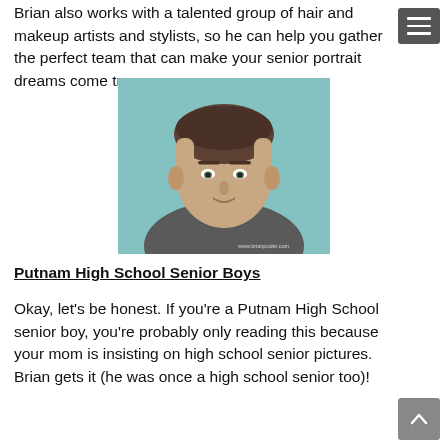Brian also works with a talented group of hair and makeup artists and stylists, so he can help you gather the perfect team that can make your senior portrait dreams come true.
[Figure (photo): Professional senior portrait photo of a teenage boy with short brown hair wearing a gray shirt, leaning against a teal/light blue textured wall. Watermark reads www.brianpuder.com]
Putnam High School Senior Boys
Okay, let's be honest. If you're a Putnam High School senior boy, you're probably only reading this because your mom is insisting on high school senior pictures. Brian gets it (he was once a high school senior too)!